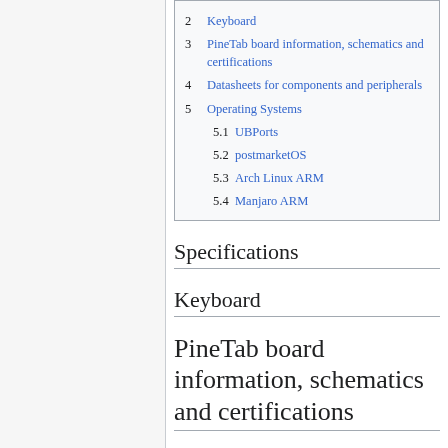2 Keyboard
3 PineTab board information, schematics and certifications
4 Datasheets for components and peripherals
5 Operating Systems
5.1 UBPorts
5.2 postmarketOS
5.3 Arch Linux ARM
5.4 Manjaro ARM
Specifications
Keyboard
PineTab board information, schematics and certifications
Datasheets for components